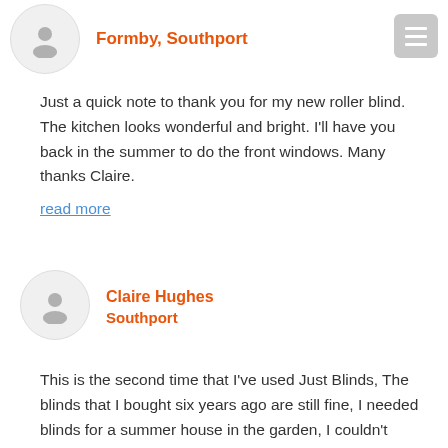Formby, Southport
Just a quick note to thank you for my new roller blind. The kitchen looks wonderful and bright. I'll have you back in the summer to do the front windows. Many thanks Claire.
read more
Claire Hughes
Southport
This is the second time that I've used Just Blinds, The blinds that I bought six years ago are still fine, I needed blinds for a summer house in the garden, I couldn't believe it when the same fitter who I dealt with six years